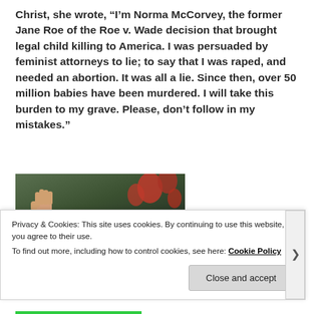Christ, she wrote, “I’m Norma McCorvey, the former Jane Roe of the Roe v. Wade decision that brought legal child killing to America. I was persuaded by feminist attorneys to lie; to say that I was raped, and needed an abortion. It was all a lie. Since then, over 50 million babies have been murdered. I will take this burden to my grave. Please, don’t follow in my mistakes.”
[Figure (photo): A partially visible photo showing a raised fist in the upper left, dark floral background with red flowers, and a shelf or ledge at the bottom with teal/blue tiles.]
Privacy & Cookies: This site uses cookies. By continuing to use this website, you agree to their use.
To find out more, including how to control cookies, see here: Cookie Policy
Close and accept